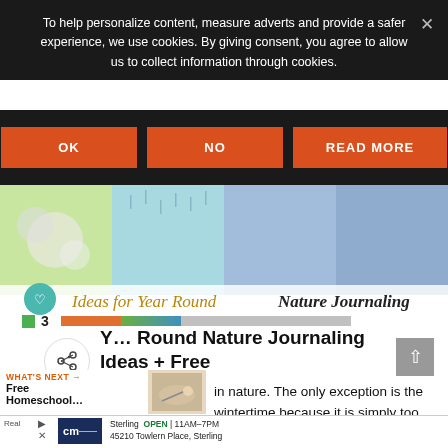To help personalize content, measure adverts and provide a safer experience, we use cookies. By giving consent, you agree to allow us to collect information through cookies.
[Figure (screenshot): Cookie consent banner with OK, NO, READ MORE buttons on dark background]
[Figure (photo): Nature journaling banner image showing seasonal nature photos with text 'Ideas for Year Round Nature Journaling']
Year Round Nature Journaling Ideas + Free Printable
in nature. The only exception is the wintertime because it is simply too cold for me to enjoy living in Maine.
[Figure (infographic): Bottom advertisement bar showing CM logo, Sterling store address, 45210 Towlern Place Sterling, OPEN 11AM-7PM, navigation arrow icon]